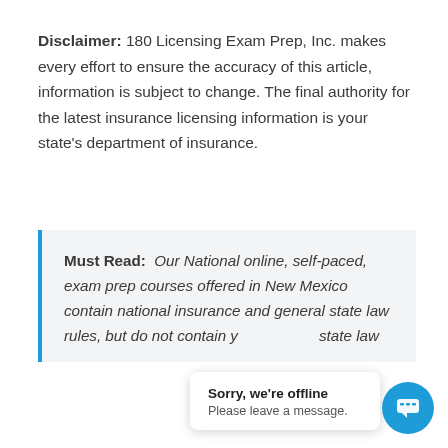Disclaimer: 180 Licensing Exam Prep, Inc. makes every effort to ensure the accuracy of this article, information is subject to change. The final authority for the latest insurance licensing information is your state's department of insurance.
Must Read:  Our National online, self-paced, exam prep courses offered in New Mexico contain national insurance and general state law rules, but do not contain y... state law...
Sorry, we're offline. Please leave a message.